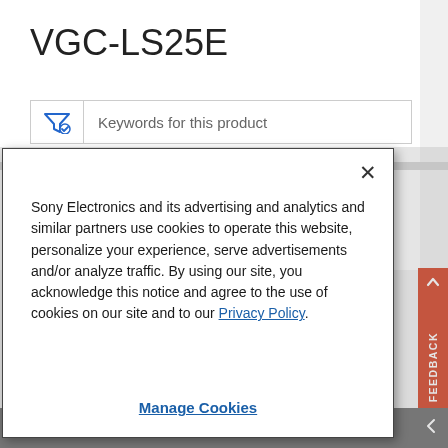VGC-LS25E
[Figure (screenshot): Search/filter input box with funnel icon and text 'Keywords for this product']
Sony Electronics and its advertising and analytics and similar partners use cookies to operate this website, personalize your experience, serve advertisements and/or analyze traffic. By using our site, you acknowledge this notice and agree to the use of cookies on our site and to our Privacy Policy.
Manage Cookies